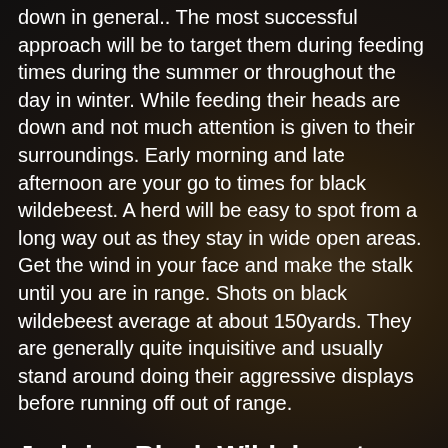down in general.. The most successful approach will be to target them during feeding times during the summer or throughout the day in winter. While feeding their heads are down and not much attention is given to their surroundings. Early morning and late afternoon are your go to times for black wildebeest. A herd will be easy to spot from a long way out as they stay in wide open areas. Get the wind in your face and make the stalk until you are in range. Shots on black wildebeest average at about 150yards. They are generally quite inquisitive and usually stand around doing their aggressive displays before running off out of range.
Judging Black Wildebeest
It can be tricky to determine the sex and tell the males apart from the females due to both sexes carrying horns